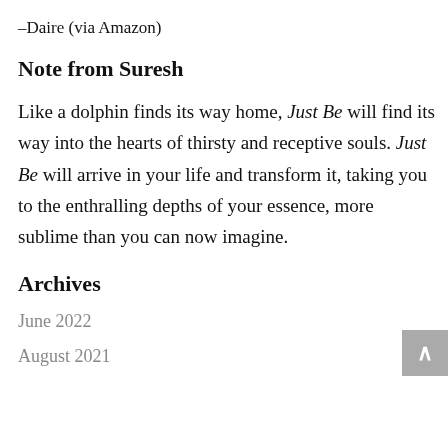–Daire (via Amazon)
Note from Suresh
Like a dolphin finds its way home, Just Be will find its way into the hearts of thirsty and receptive souls. Just Be will arrive in your life and transform it, taking you to the enthralling depths of your essence, more sublime than you can now imagine.
Archives
June 2022
August 2021